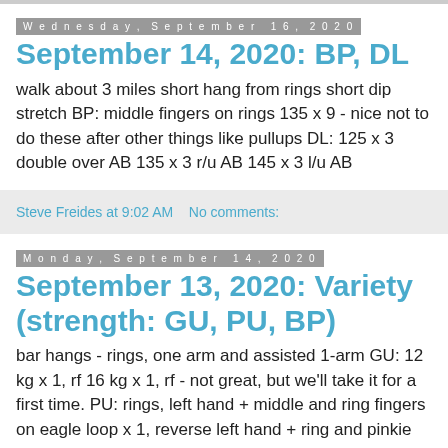Wednesday, September 16, 2020
September 14, 2020: BP, DL
walk about 3 miles short hang from rings short dip stretch BP: middle fingers on rings 135 x 9 - nice not to do these after other things like pullups DL: 125 x 3 double over AB 135 x 3 r/u AB 145 x 3 l/u AB
Steve Freides at 9:02 AM   No comments:
Monday, September 14, 2020
September 13, 2020: Variety (strength: GU, PU, BP)
bar hangs - rings, one arm and assisted 1-arm GU: 12 kg x 1, rf 16 kg x 1, rf - not great, but we'll take it for a first time. PU: rings, left hand + middle and ring fingers on eagle loop x 1, reverse left hand + ring and pinkie fingers on eagle loop x 1, reverse BP: middle fingers on rings 135 x 6 145 x 4 155 x